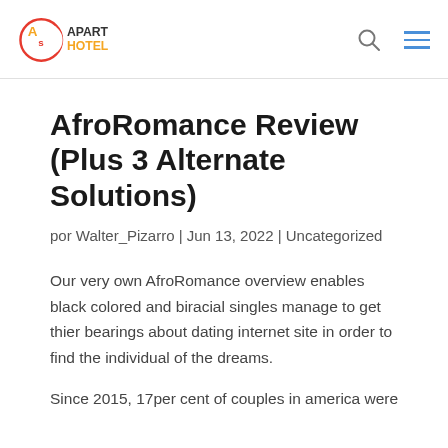Apart Hotel
AfroRomance Review (Plus 3 Alternate Solutions)
por Walter_Pizarro | Jun 13, 2022 | Uncategorized
Our very own AfroRomance overview enables black colored and biracial singles manage to get thier bearings about dating internet site in order to find the individual of the dreams.
Since 2015, 17per cent of couples in america were